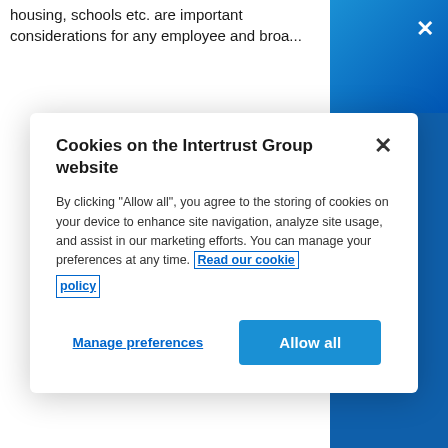housing, schools etc. are important considerations for any employee and broa...
[Figure (screenshot): Cookie consent modal dialog on the Intertrust Group website with title 'Cookies on the Intertrust Group website', descriptive text about cookie usage, a 'Read our cookie policy' link, 'Manage preferences' and 'Allow all' buttons. Behind the modal is partially visible webpage content with blue sidebar showing subscription prompt.]
sector provides dir... around Ireland and to the Irish state. In... industry requires th... the Investment Lim... making it easier fo... funds thus generati... across Ireland.
news and insights, personalised to your role, location and areas of interest.